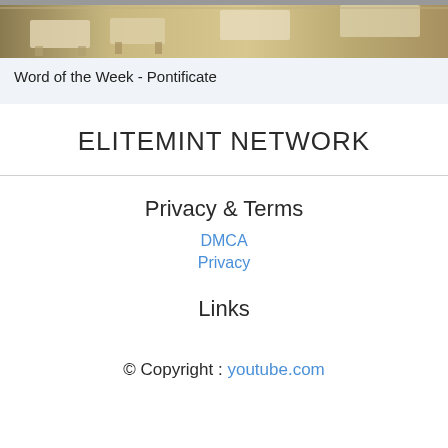[Figure (photo): Photograph of a classroom with desks and chairs, blurred/cropped at top]
Word of the Week - Pontificate
ELITEMINT NETWORK
Privacy & Terms
DMCA
Privacy
Links
© Copyright : youtube.com